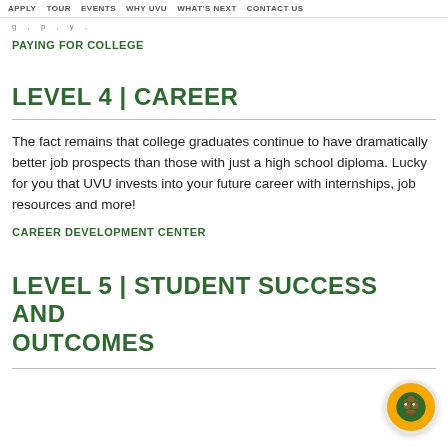APPLY  TOUR  EVENTS  WHY UVU  WHAT'S NEXT  CONTACT US
g...  ,  p...  ,  y...
PAYING FOR COLLEGE
LEVEL 4 | CAREER
The fact remains that college graduates continue to have dramatically better job prospects than those with just a high school diploma. Lucky for you that UVU invests into your future career with internships, job resources and more!
CAREER DEVELOPMENT CENTER
LEVEL 5 | STUDENT SUCCESS AND OUTCOMES